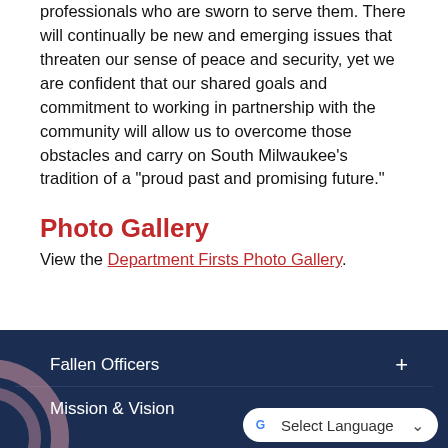professionals who are sworn to serve them. There will continually be new and emerging issues that threaten our sense of peace and security, yet we are confident that our shared goals and commitment to working in partnership with the community will allow us to overcome those obstacles and carry on South Milwaukee's tradition of a "proud past and promising future."
Photo Gallery
View the Department Firsts Photo Gallery.
Fallen Officers
Mission & Vision